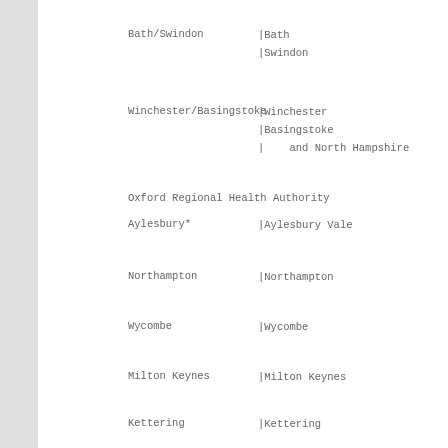Bath/Swindon | Bath | Swindon
Winchester/Basingstoke | Winchester | Basingstoke | and North Hampshire
Oxford Regional Health Authority
Aylesbury* | Aylesbury Vale
Northampton | Northampton
Wycombe | Wycombe
Milton Keynes | Milton Keynes
Kettering | Kettering
Reading* | West Berkshire